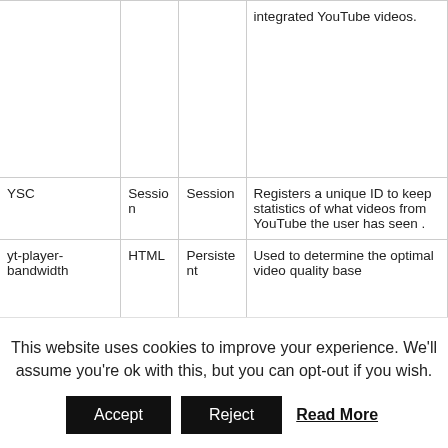| Name | Type | Duration | Description |
| --- | --- | --- | --- |
|  |  |  | integrated YouTube videos. |
| YSC | Session | Session | Registers a unique ID to keep statistics of what videos from YouTube the user has seen . |
| yt-player-bandwidth | HTML | Persistent | Used to determine the optimal video quality base |
This website uses cookies to improve your experience. We'll assume you're ok with this, but you can opt-out if you wish.